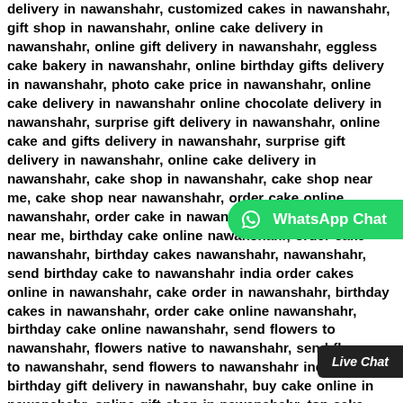delivery in nawanshahr, customized cakes in nawanshahr, gift shop in nawanshahr, online cake delivery in nawanshahr, online gift delivery in nawanshahr, eggless cake bakery in nawanshahr, online birthday gifts delivery in nawanshahr, photo cake price in nawanshahr, online cake delivery in nawanshahr online chocolate delivery in nawanshahr, surprise gift delivery in nawanshahr, online cake and gifts delivery in nawanshahr, surprise gift delivery in nawanshahr, online cake delivery in nawanshahr, cake shop in nawanshahr, cake shop near me, cake shop near nawanshahr, order cake online nawanshahr, order cake in nawanshahr, order cake online near me, birthday cake online nawanshahr, order cake nawanshahr, birthday cakes nawanshahr, nawanshahr, send birthday cake to nawanshahr india order cakes online in nawanshahr, cake order in nawanshahr, birthday cakes in nawanshahr, order cake online nawanshahr, birthday cake online nawanshahr, send flowers to nawanshahr, flowers native to nawanshahr, send flowers to nawanshahr, send flowers to nawanshahr india, online birthday gift delivery in nawanshahr, buy cake online in nawanshahr, online gift shop in nawanshahr, top cake shops in nawanshahr, cake delivery in nawanshahr, cake online nawanshahr, cake in nawanshahr, online flowers nawanshahr, flower and cake delivery in nawanshahr, online flowers and cake delivery in nawanshahr, cake and flowers midnight delivery
[Figure (other): WhatsApp Chat button (green rounded button with WhatsApp icon)]
[Figure (other): Live Chat button (dark rounded button)]